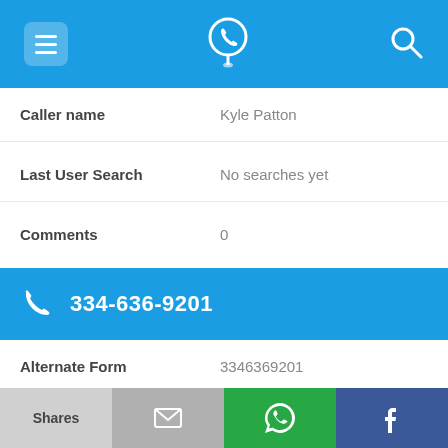[Figure (screenshot): Mobile app top navigation bar with menu/hamburger icon, phone-location pin logo, and search icon on blue background]
Caller name   Kyle Patton
Last User Search   No searches yet
Comments   0
334-636-9201
Alternate Form   3346369201
Caller name   C. J Holt
Last User Search   No searches yet
[Figure (screenshot): Mobile app bottom share bar with Shares, email, WhatsApp, and Facebook tabs]